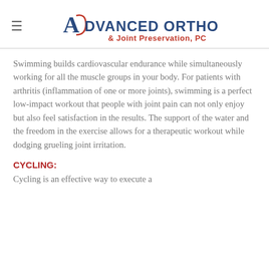Advanced Orthopedics & Joint Preservation, PC
Swimming builds cardiovascular endurance while simultaneously working for all the muscle groups in your body. For patients with arthritis (inflammation of one or more joints), swimming is a perfect low-impact workout that people with joint pain can not only enjoy but also feel satisfaction in the results. The support of the water and the freedom in the exercise allows for a therapeutic workout while dodging grueling joint irritation.
CYCLING:
Cycling is an effective way to execute a